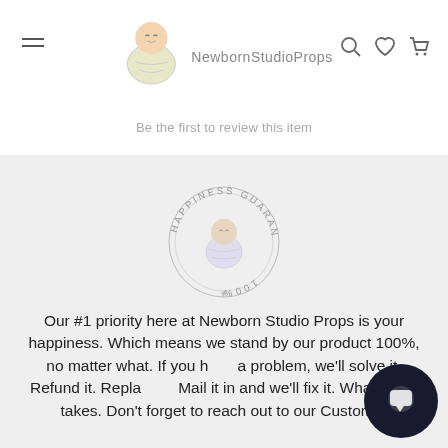NewbornStudioProps
Be the first to review this item
[Figure (logo): Happiness Guarantee 100% circular stamp seal with baby illustration in center]
Our #1 priority here at Newborn Studio Props is your happiness. Which means we stand by our product 100%, no matter what. If you have a problem, we'll solve it. Refund it. Replace it. Mail it in and we'll fix it. Whatever it takes. Don't forget to reach out to our Customer